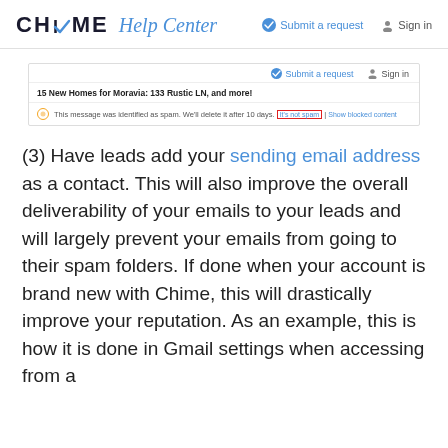CHIME Help Center
[Figure (screenshot): Screenshot of a Gmail spam notification for an email titled '15 New Homes for Moravia: 133 Rustic LN, and more!' with a spam warning message and a highlighted 'It's not spam' link in red border.]
(3) Have leads add your sending email address as a contact. This will also improve the overall deliverability of your emails to your leads and will largely prevent your emails from going to their spam folders. If done when your account is brand new with Chime, this will drastically improve your reputation. As an example, this is how it is done in Gmail settings when accessing from a